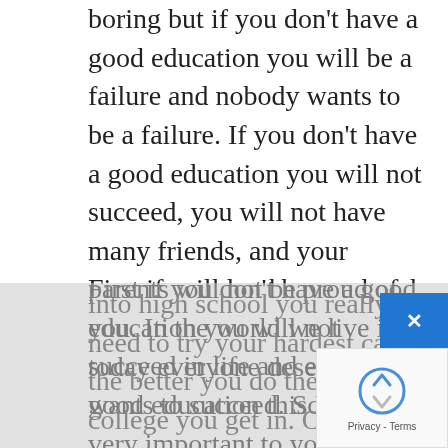boring but if you don't have a good education you will be a failure and nobody wants to be a failure. If you don't have a good education you will not succeed, you will not have many friends, and your parents will not be proud of you. In the world we live in today everyone deserves a good education this I believe.
First if you don't have a good education you will not succeed in life and everyone wants to succeed. School is very important to you, you may not think so but it is. Elementary isn't that important but you do need to pass and middle school is the same way, but once you get into high school you really need to try your hardest cause the better you do the better college you get in. Once you get into college you need to try your hardest because the harder you try the faster you get out and get a good job. This is why you